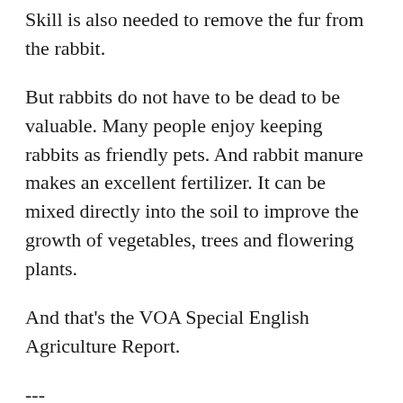Skill is also needed to remove the fur from the rabbit.
But rabbits do not have to be dead to be valuable. Many people enjoy keeping rabbits as friendly pets. And rabbit manure makes an excellent fertilizer. It can be mixed directly into the soil to improve the growth of vegetables, trees and flowering plants.
And that's the VOA Special English Agriculture Report.
---
Editor's Note: Although our programs are intended for foreign audiences, we received the following comments from the United States.
From Pamela Alley, director, Rabbit Industry Council: